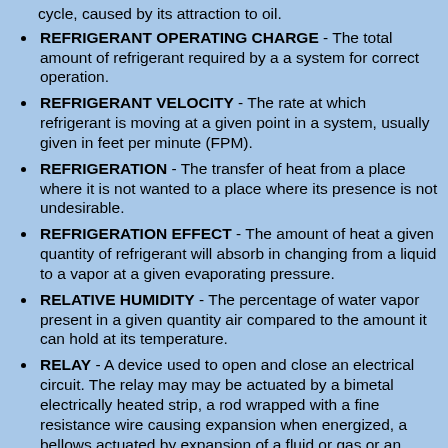cycle, caused by its attraction to oil.
REFRIGERANT OPERATING CHARGE - The total amount of refrigerant required by a a system for correct operation.
REFRIGERANT VELOCITY - The rate at which refrigerant is moving at a given point in a system, usually given in feet per minute (FPM).
REFRIGERATION - The transfer of heat from a place where it is not wanted to a place where its presence is not undesirable.
REFRIGERATION EFFECT - The amount of heat a given quantity of refrigerant will absorb in changing from a liquid to a vapor at a given evaporating pressure.
RELATIVE HUMIDITY - The percentage of water vapor present in a given quantity air compared to the amount it can hold at its temperature.
RELAY - A device used to open and close an electrical circuit. The relay may may be actuated by a bimetal electrically heated strip, a rod wrapped with a fine resistance wire causing expansion when energized, a bellows actuated by expansion of a fluid or gas or an electromagnetic coil.
REVERSING VALVE - A device in a heat pump that is electrically controlled to reverse the flow of refrigerant as the